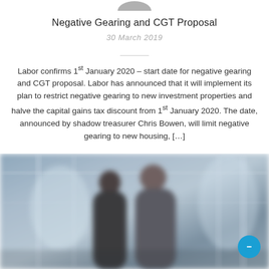[Figure (logo): Logo at top center (partially visible, cropped)]
Negative Gearing and CGT Proposal
30 March 2019
Labor confirms 1st January 2020 – start date for negative gearing and CGT proposal. Labor has announced that it will implement its plan to restrict negative gearing to new investment properties and halve the capital gains tax discount from 1st January 2020. The date, announced by shadow treasurer Chris Bowen, will limit negative gearing to new housing, […]
[Figure (photo): Blurred photo of two people in business attire standing in a modern office or corridor]